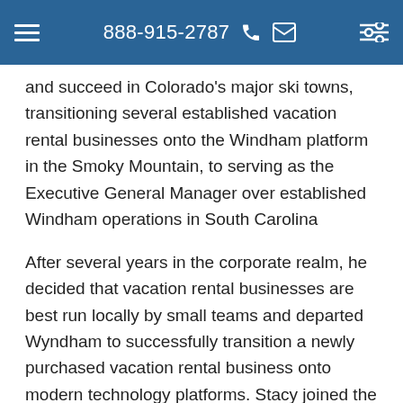888-915-2787
and succeed in Colorado's major ski towns, transitioning several established vacation rental businesses onto the Windham platform in the Smoky Mountain, to serving as the Executive General Manager over established Windham operations in South Carolina
After several years in the corporate realm, he decided that vacation rental businesses are best run locally by small teams and departed Wyndham to successfully transition a newly purchased vacation rental business onto modern technology platforms. Stacy joined the BSVR team last year and is excited to bring his expertise to the business and team.